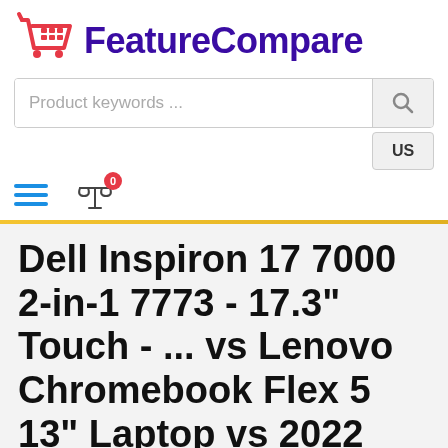FeatureCompare
Product keywords ...
Dell Inspiron 17 7000 2-in-1 7773 - 17.3" Touch - ... vs Lenovo Chromebook Flex 5 13" Laptop vs 2022 Lenovo 300e 11.6" 2-in-1